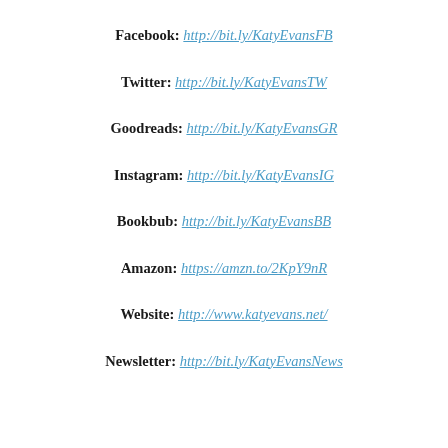Facebook: http://bit.ly/KatyEvansFB
Twitter: http://bit.ly/KatyEvansTW
Goodreads: http://bit.ly/KatyEvansGR
Instagram: http://bit.ly/KatyEvansIG
Bookbub: http://bit.ly/KatyEvansBB
Amazon: https://amzn.to/2KpY9nR
Website: http://www.katyevans.net/
Newsletter: http://bit.ly/KatyEvansNews